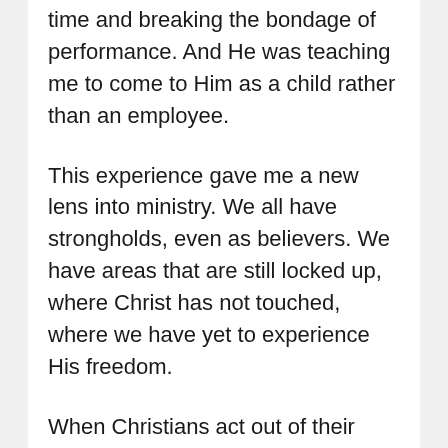time and breaking the bondage of performance. And He was teaching me to come to Him as a child rather than an employee.
This experience gave me a new lens into ministry. We all have strongholds, even as believers. We have areas that are still locked up, where Christ has not touched, where we have yet to experience His freedom.
When Christians act out of their flesh and they slander and they are arrogant or nasty and they gossip and they are judgmental, I used to get angry with the person. But now I get angry at Satan. He is deceiving this